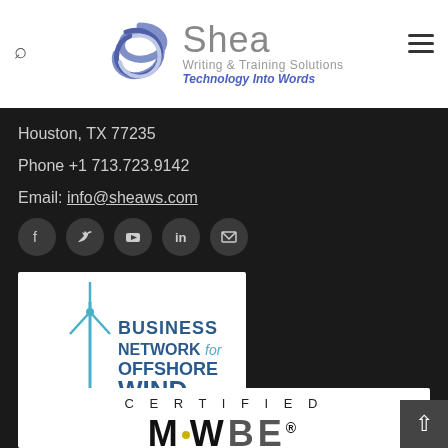Shea Writing & Training Solutions — Technology Into Words
Houston, TX 77235
Phone +1 713.723.9142
Email: info@sheaws.com
[Figure (logo): Social media icons: Facebook, Twitter, YouTube, LinkedIn, Email]
[Figure (logo): Business Network for Offshore Wind logo with wind turbine graphic]
[Figure (logo): Certified logo — partially visible at bottom of page]